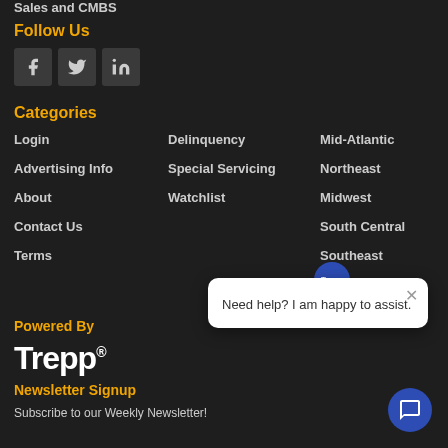Sales and CMBS
Follow Us
[Figure (illustration): Social media icons: Facebook, Twitter, LinkedIn]
Categories
Login
Advertising Info
About
Contact Us
Terms
Delinquency
Special Servicing
Watchlist
Mid-Atlantic
Northeast
Midwest
South Central
Southeast
Powered By
Trepp®
Newsletter Signup
Subscribe to our Weekly Newsletter!
[Figure (screenshot): Chat popup with Trepp badge and message: Need help? I am happy to assist.]